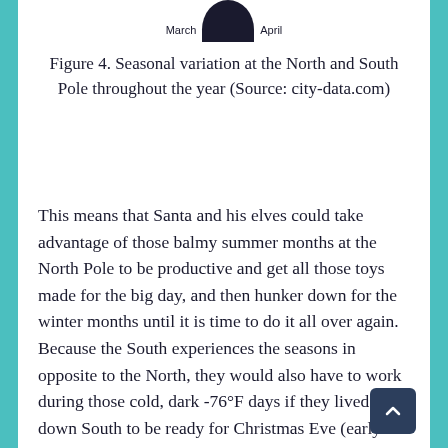[Figure (other): Partial circular diagram showing months March and April at the top, representing seasonal variation at the North and South Pole. Dark navy semicircle visible at top of page.]
Figure 4. Seasonal variation at the North and South Pole throughout the year (Source: city-data.com)
This means that Santa and his elves could take advantage of those balmy summer months at the North Pole to be productive and get all those toys made for the big day, and then hunker down for the winter months until it is time to do it all over again. Because the South experiences the seasons in opposite to the North, they would also have to work during those cold, dark -76°F days if they lived down South to be ready for Christmas Eve (early summer...